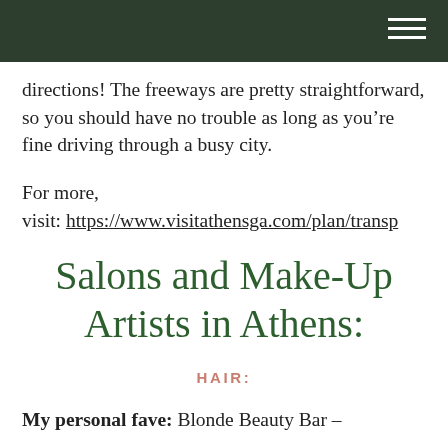directions! The freeways are pretty straightforward, so you should have no trouble as long as you’re fine driving through a busy city.
For more,
visit: https://www.visitathensga.com/plan/transp
Salons and Make-Up Artists in Athens:
HAIR:
My personal fave: Blonde Beauty Bar –